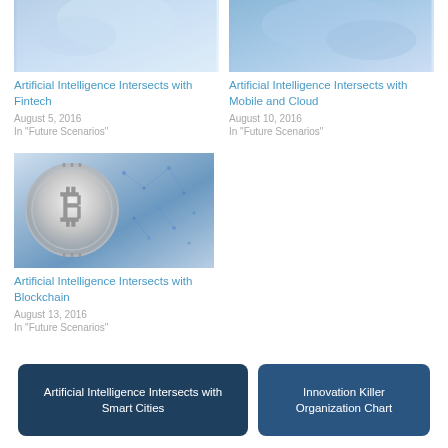[Figure (photo): Partial thumbnail image of AI Fintech article (top portion, cropped)]
Artificial Intelligence Intersects with Fintech
August 5, 2016
In "Future Scenarios"
[Figure (photo): Partial thumbnail image of AI Mobile and Cloud article (top portion, cropped)]
Artificial Intelligence Intersects with Mobile and Cloud
August 10, 2016
In "Future Scenarios"
[Figure (photo): Thumbnail image showing Bitcoin coin with blockchain network background]
Artificial Intelligence Intersects with Blockchain
August 13, 2016
In "Future Scenarios"
Artificial Intelligence Intersects with Smart Cities
Innovation Killer Organization Chart